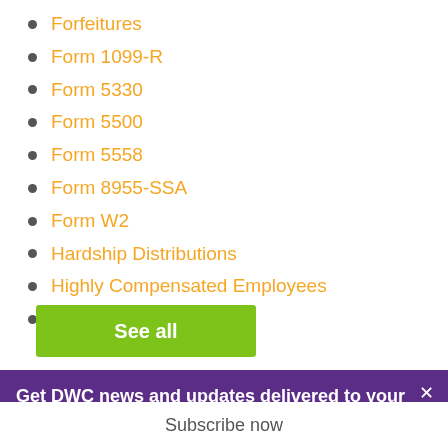Forfeitures
Form 1099-R
Form 5330
Form 5500
Form 5558
Form 8955-SSA
Form W2
Hardship Distributions
Highly Compensated Employees
In-Service Distributions
See all
Get DWC news and updates delivered to your inbox
Subscribe now